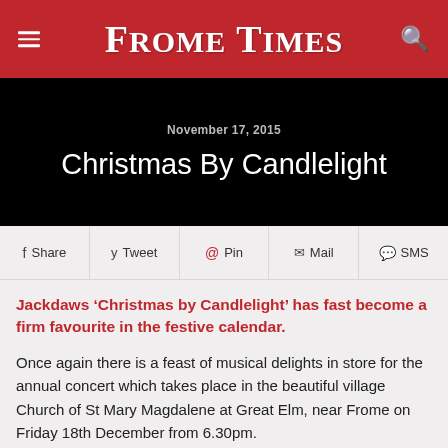Frome Times
November 17, 2015
Christmas By Candlelight
Share  Tweet  Pin  Mail  SMS
Jackdaws ‘Christmas by Candlelight’ has fast become a firm favourite in the festive calendar.
Once again there is a feast of musical delights in store for the annual concert which takes place in the beautiful village Church of St Mary Magdalene at Great Elm, near Frome on Friday 18th December from 6.30pm.